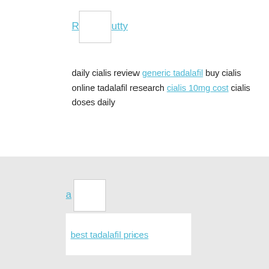R[image] utty
daily cialis review generic tadalafil buy cialis online tadalafil research cialis 10mg cost cialis doses daily
a[image]
best tadalafil prices